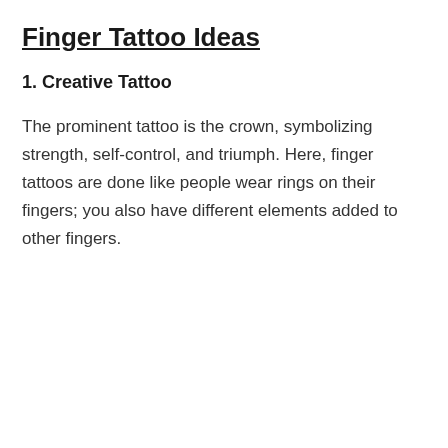Finger Tattoo Ideas
1. Creative Tattoo
The prominent tattoo is the crown, symbolizing strength, self-control, and triumph. Here, finger tattoos are done like people wear rings on their fingers; you also have different elements added to other fingers.